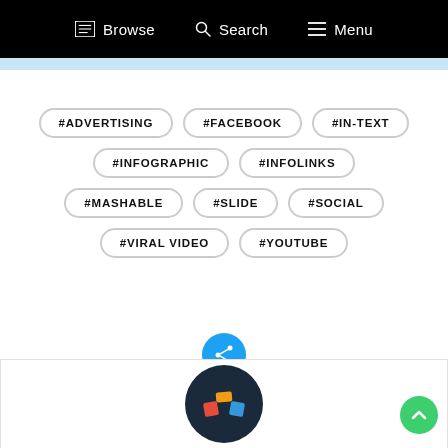Browse   Search   Menu
#ADVERTISING
#FACEBOOK
#IN-TEXT
#INFOGRAPHIC
#INFOLINKS
#MASHABLE
#SLIDE
#SOCIAL
#VIRAL VIDEO
#YOUTUBE
[Figure (illustration): Blue circular share/social icon button]
[Figure (logo): Dark navy circular avatar/logo with colorful icon]
[Figure (illustration): Green circular scroll-to-top arrow button]